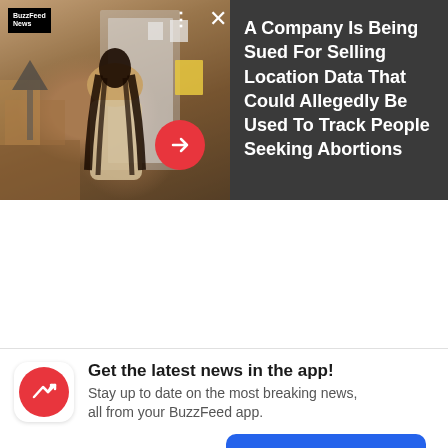[Figure (screenshot): BuzzFeed News app screenshot showing a photo of a person from behind in what appears to be a clinic or office, with a dark panel on the right displaying a headline about a company being sued for selling location data]
A Company Is Being Sued For Selling Location Data That Could Allegedly Be Used To Track People Seeking Abortions
Get the latest news in the app! Stay up to date on the most breaking news, all from your BuzzFeed app.
Maybe later
Get the app